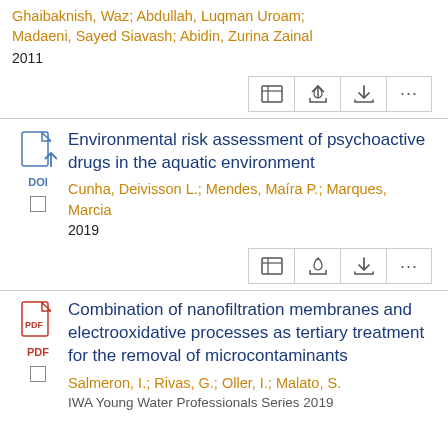Ghaibaknish, Waz; Abdullah, Luqman Uroam; Madaeni, Sayed Siavash; Abidin, Zurina Zainal
2011
Environmental risk assessment of psychoactive drugs in the aquatic environment
Cunha, Deivisson L.; Mendes, Maíra P.; Marques, Marcia
2019
Combination of nanofiltration membranes and electrooxidative processes as tertiary treatment for the removal of microcontaminants
Salmeron, I.; Rivas, G.; Oller, I.; Malato, S.
IWA Young Water Professionals Series 2019